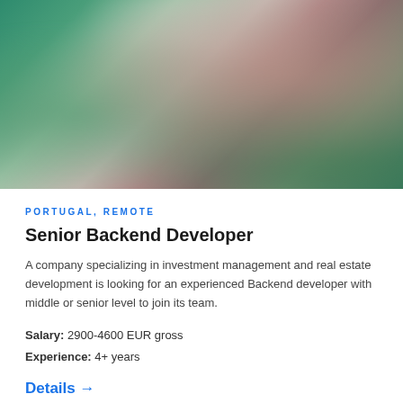[Figure (photo): Abstract blurred background image with green, mauve, beige, and white tones]
PORTUGAL, REMOTE
Senior Backend Developer
A company specializing in investment management and real estate development is looking for an experienced Backend developer with middle or senior level to join its team.
Salary: 2900-4600 EUR gross
Experience: 4+ years
Details →